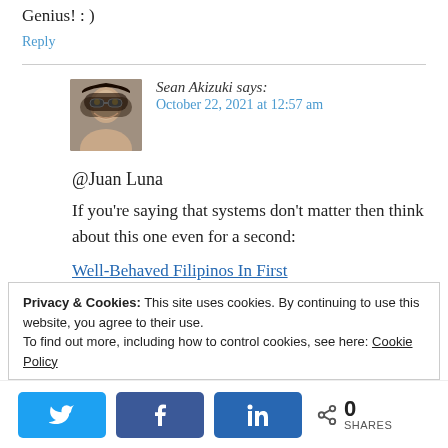Genius! : )
Reply
[Figure (photo): Avatar photo of Sean Akizuki, a man with glasses and dark hair]
Sean Akizuki says:
October 22, 2021 at 12:57 am
@Juan Luna
If you're saying that systems don't matter then think about this one even for a second:
Well-Behaved Filipinos In First
Privacy & Cookies: This site uses cookies. By continuing to use this website, you agree to their use.
To find out more, including how to control cookies, see here: Cookie Policy